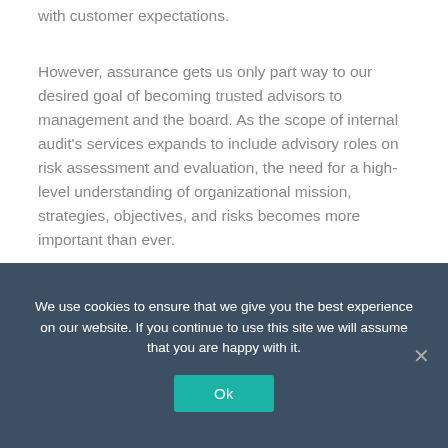with customer expectations.
However, assurance gets us only part way to our desired goal of becoming trusted advisors to management and the board. As the scope of internal audit's services expands to include advisory roles on risk assessment and evaluation, the need for a high-level understanding of organizational mission, strategies, objectives, and risks becomes more important than ever.
Gaining this high-level understanding should be approached systematically and rely heavily the CAE's deep understanding of the organization's operational
We use cookies to ensure that we give you the best experience on our website. If you continue to use this site we will assume that you are happy with it.
Ok